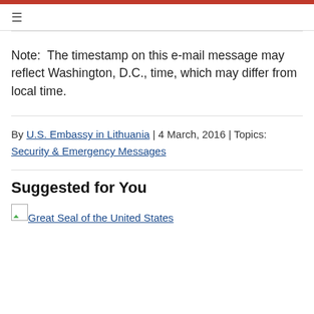≡
Note:  The timestamp on this e-mail message may reflect Washington, D.C., time, which may differ from local time.
By U.S. Embassy in Lithuania | 4 March, 2016 | Topics: Security & Emergency Messages
Suggested for You
[Figure (illustration): Broken image placeholder for Great Seal of the United States with link text]